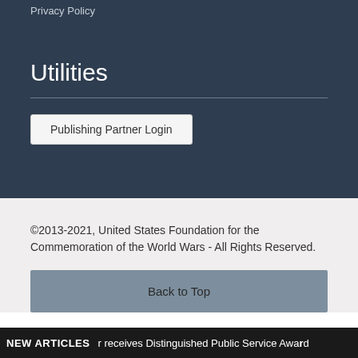Privacy Policy
Utilities
Publishing Partner Login
©2013-2021, United States Foundation for the Commemoration of the World Wars - All Rights Reserved.
Back to Top
NEW ARTICLES  r receives Distinguished Public Service Award